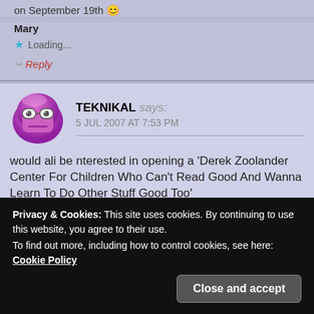on September 19th 😊
Mary
★ Loading...
↪ Reply
TEKNIKAL says: 5 JUL 2007 AT 7:53 PM
would ali be nterested in opening a 'Derek Zoolander Center For Children Who Can't Read Good And Wanna Learn To Do Other Stuff Good Too'
Privacy & Cookies: This site uses cookies. By continuing to use this website, you agree to their use.
To find out more, including how to control cookies, see here: Cookie Policy
Close and accept